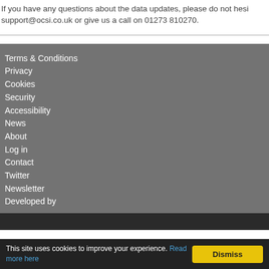If you have any questions about the data updates, please do not hesi support@ocsi.co.uk or give us a call on 01273 810270.
Terms & Conditions
Privacy
Cookies
Security
Accessibility
News
About
Log in
Contact
Twitter
Newsletter
Developed by
This site uses cookies to improve your experience. Read more here  Dismiss